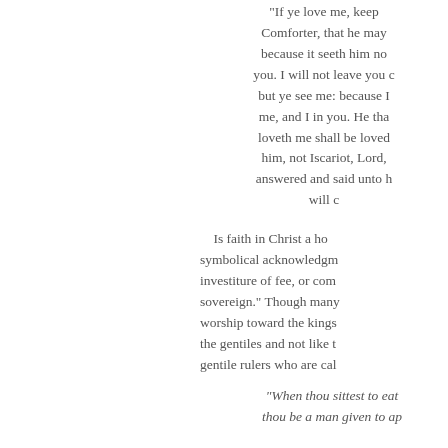"If ye love me, keep my commandments. And I will pray the Father, and he shall give you another Comforter, that he may abide with you for ever; Even the Spirit of truth; whom the world cannot receive, because it seeth him not, neither knoweth him: but ye know him; for he dwelleth with you, and shall be in you. I will not leave you comfortless: I will come to you. Yet a little while, and the world seeth me no more; but ye see me: because I live, ye shall live also. At that day ye shall know that I am in my Father, and ye in me, and I in you. He that hath my commandments, and keepeth them, he it is that loveth me: and he that loveth me shall be loved of my Father, and I will love him, and will manifest myself to him. Judas saith unto him, not Iscariot, Lord, how is it that thou wilt manifest thyself unto us, and not unto the world? Jesus answered and said unto him, If a man love me, he will keep my words: and my Father will love him, and we will come unto him, and make our abode with him."
Is faith in Christ a homage, a symbolical acknowledgment of superiority, an investiture of fee, or commendation to a sovereign." Though many times we direct our worship toward the kings and lords similar to the gentiles and not like the original intent. The gentile rulers who are called benefactors.
"When thou sittest to eat with a ruler, consider diligently what is before thee: And put a knife to thy throat, if thou be a man given to appetite."
Worship is an act of reverence, originally a religious term. It means to celebrate and sing His praises.
When we truly worship God, we submit to the act of worship itself.